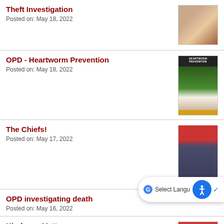Theft Investigation
Posted on: May 18, 2022
[Figure (photo): Thumbnail photo for Theft Investigation article]
OPD - Heartworm Prevention
Posted on: May 18, 2022
[Figure (photo): Heartworm Prevention flyer thumbnail]
The Chiefs!
Posted on: May 17, 2022
[Figure (photo): Photo of two people in uniform under a red canopy]
OPD investigating death
Posted on: May 16, 2022
Kindness Matters
Posted on: May 16, 2022
[Figure (photo): Partial thumbnail for Kindness Matters article]